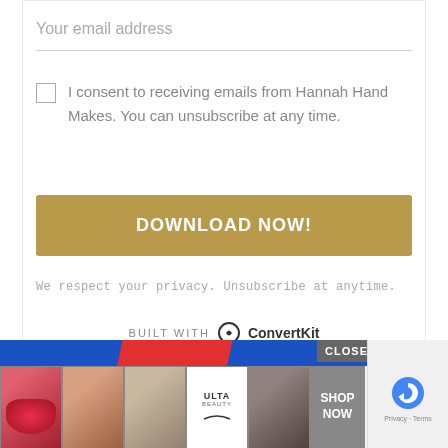Your email address
I consent to receiving emails from Hannah Hand Makes. You can unsubscribe at any time.
DOWNLOAD NOW!
We respect your privacy. Unsubscribe at anytime.
BUILT WITH ConvertKit
[Figure (screenshot): Bottom advertisement banner showing beauty product images, ULTA logo, SHOP NOW button, a CLOSE button, and a reCAPTCHA widget on the right side.]